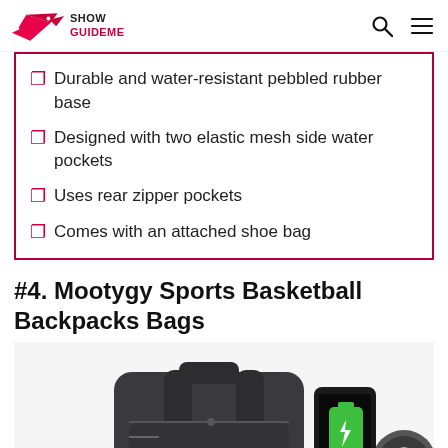Show GuidemeShow Guideme
Durable and water-resistant pebbled rubber base
Designed with two elastic mesh side water pockets
Uses rear zipper pockets
Comes with an attached shoe bag
#4. Mootygy Sports Basketball Backpacks Bags
[Figure (photo): Dark grey sports backpack with USB charging port and phone charging cable, shown with a smartphone displaying charging screen and a circular icon]